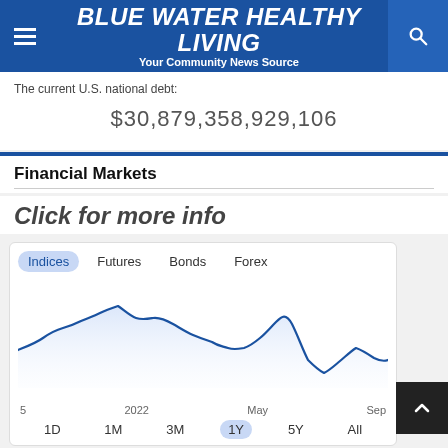BLUE WATER HEALTHY LIVING — Your Community News Source
The current U.S. national debt:
$30,879,358,929,106
Financial Markets
Click for more info
[Figure (continuous-plot): Financial market indices line chart showing a 1-year trend from Jan 2022 to Sep 2022. The line starts at a mid level, peaks around Feb-Mar 2022, then trends downward through May 2022, reaching a trough around Jun-Jul 2022, then partially recovers toward Sep 2022. The chart has tabs: Indices (active), Futures, Bonds, Forex. Time range buttons: 1D, 1M, 3M, 1Y (active), 5Y, All. X-axis labels: 5, 2022, May, Sep.]